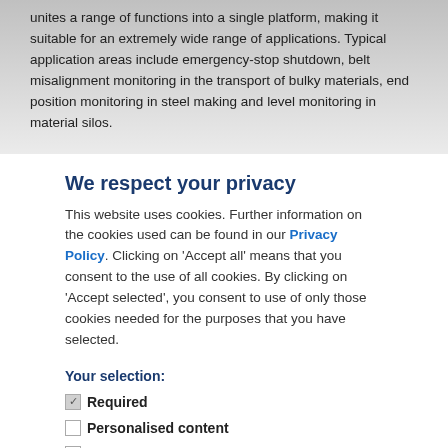unites a range of functions into a single platform, making it suitable for an extremely wide range of applications. Typical application areas include emergency-stop shutdown, belt misalignment monitoring in the transport of bulky materials, end position monitoring in steel making and level monitoring in material silos.
We respect your privacy
This website uses cookies. Further information on the cookies used can be found in our Privacy Policy. Clicking on 'Accept all' means that you consent to the use of all cookies. By clicking on 'Accept selected', you consent to use of only those cookies needed for the purposes that you have selected.
Your selection:
Required
Personalised content
Web analysis
External media: YouTube